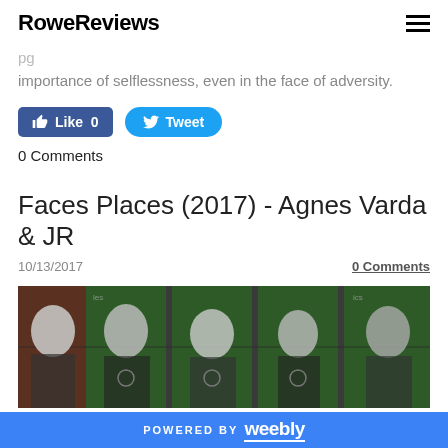RoweReviews
importance of selflessness, even in the face of adversity.
[Figure (other): Facebook Like button (0 likes) and Twitter Tweet button]
0 Comments
Faces Places (2017) - Agnes Varda & JR
10/13/2017
0 Comments
[Figure (photo): Large black-and-white portraits of women printed on green and brown shipping containers arranged in a row.]
POWERED BY weebly